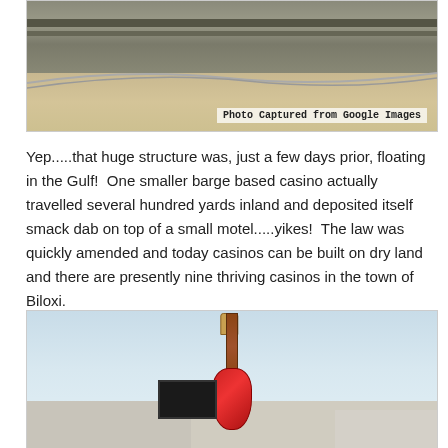[Figure (photo): Aerial view of a highway and beach area, captured from Google Images. Shows road with vehicles and sandy beach below.]
Photo Captured from Google Images
Yep.....that huge structure was, just a few days prior, floating in the Gulf!  One smaller barge based casino actually travelled several hundred yards inland and deposited itself smack dab on top of a small motel.....yikes!  The law was quickly amended and today casinos can be built on dry land and there are presently nine thriving casinos in the town of Biloxi.
[Figure (photo): Photograph of a large guitar statue/sign outside what appears to be the Hard Rock Casino in Biloxi, with buildings and sky in the background.]